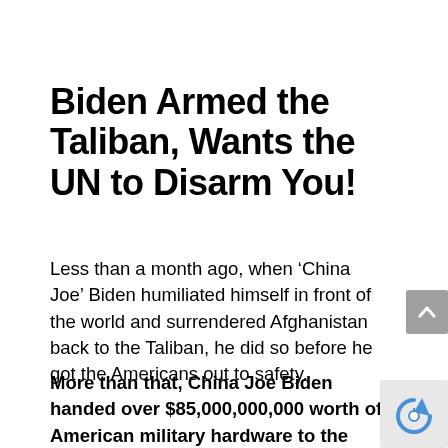Biden Armed the Taliban, Wants the UN to Disarm You!
Less than a month ago, when ‘China Joe’ Biden humiliated himself in front of the world and surrendered Afghanistan back to the Taliban, he did so before he got the Americans out to safety.
More than that, China Joe Biden handed over $85,000,000,000 worth of American military hardware to the Taliban. Reports indicate that portions of this hardware are